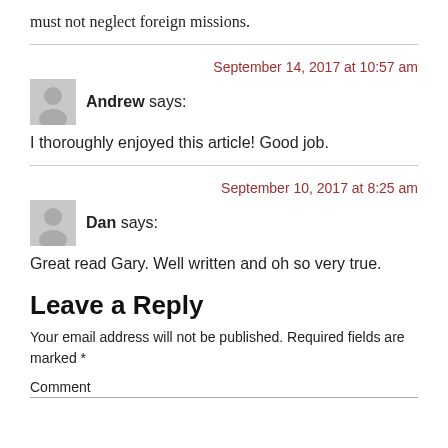must not neglect foreign missions.
September 14, 2017 at 10:57 am
Andrew says:
I thoroughly enjoyed this article! Good job.
September 10, 2017 at 8:25 am
Dan says:
Great read Gary. Well written and oh so very true.
Leave a Reply
Your email address will not be published. Required fields are marked *
Comment